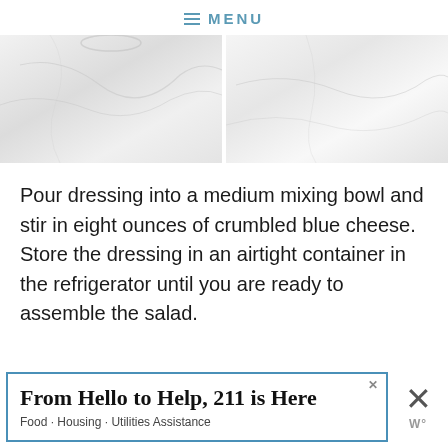≡ MENU
[Figure (photo): Two side-by-side photos showing marble or light stone surface backgrounds, cropped at top]
Pour dressing into a medium mixing bowl and stir in eight ounces of crumbled blue cheese. Store the dressing in an airtight container in the refrigerator until you are ready to assemble the salad.
[Figure (infographic): Advertisement banner: 'From Hello to Help, 211 is Here' with subtitle 'Food · Housing · Utilities Assistance', blue border, with close (x) button and app logo on the right]